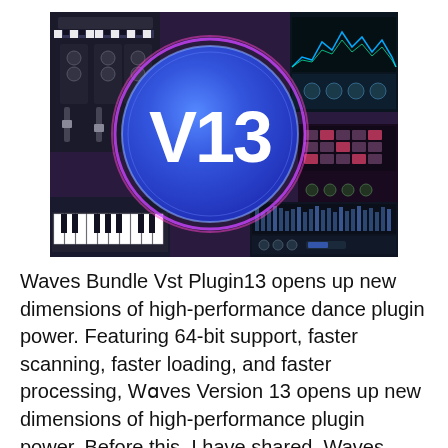[Figure (illustration): Promotional image for Waves Bundle V13 plugin software. A large blue circle with the text 'V13' in bold white letters is centered, surrounded by various synthesizer and plugin interface screenshots on a purple/pink glowing background.]
Waves Bundle Vst Plugin13 opens up new dimensions of high-performance dance plugin power. Featuring 64-bit support, faster scanning, faster loading, and faster processing, Waves Version 13 opens up new dimensions of high-performance plugin power. Before this, I have shared. Waves Complete v13 VST VST3 Crack with License